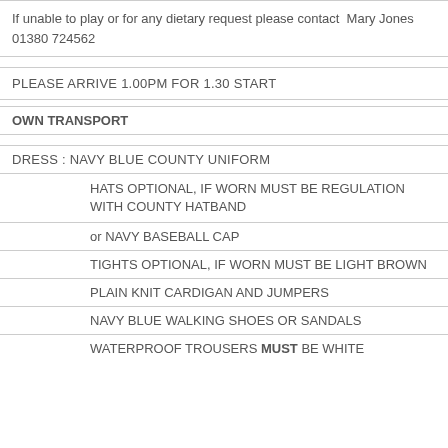If unable to play or for any dietary request please contact  Mary Jones 01380 724562
PLEASE ARRIVE 1.00PM FOR 1.30 START
OWN TRANSPORT
DRESS : NAVY BLUE COUNTY UNIFORM
HATS OPTIONAL, IF WORN MUST BE REGULATION WITH COUNTY HATBAND
or NAVY BASEBALL CAP
TIGHTS OPTIONAL, IF WORN MUST BE LIGHT BROWN
PLAIN KNIT CARDIGAN AND JUMPERS
NAVY BLUE WALKING SHOES OR SANDALS
WATERPROOF TROUSERS MUST BE WHITE